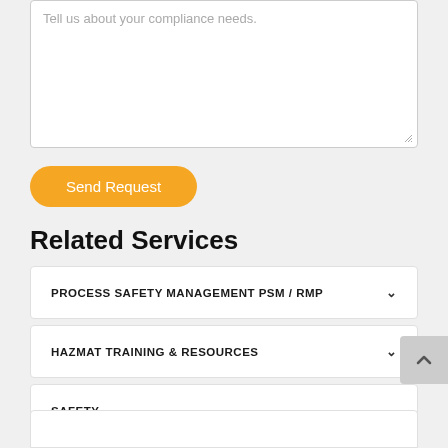Tell us about your compliance needs.
Send Request
Related Services
PROCESS SAFETY MANAGEMENT PSM / RMP
HAZMAT TRAINING & RESOURCES
SAFETY